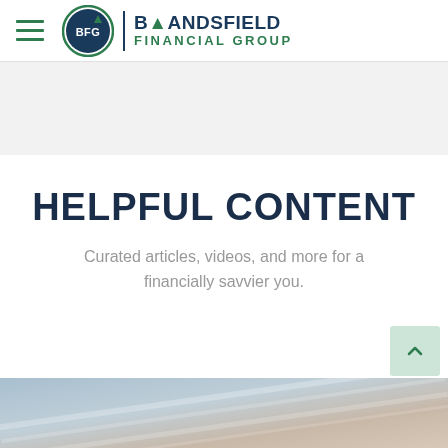Brandsfield Financial Group
[Figure (other): Gray hero banner area]
HELPFUL CONTENT
Curated articles, videos, and more for a financially savvier you.
[Figure (photo): Blurred financial document photo at bottom of page]